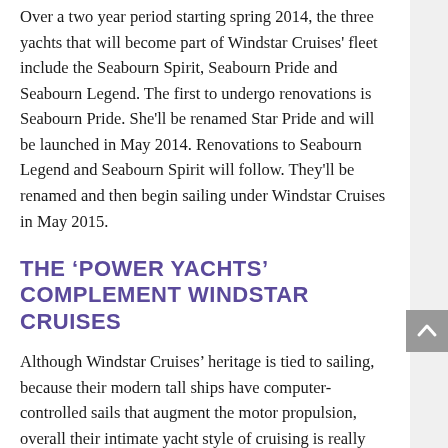Over a two year period starting spring 2014, the three yachts that will become part of Windstar Cruises' fleet include the Seabourn Spirit, Seabourn Pride and Seabourn Legend. The first to undergo renovations is Seabourn Pride. She'll be renamed Star Pride and will be launched in May 2014. Renovations to Seabourn Legend and Seabourn Spirit will follow. They'll be renamed and then begin sailing under Windstar Cruises in May 2015.
THE 'POWER YACHTS' COMPLEMENT WINDSTAR CRUISES
Although Windstar Cruises' heritage is tied to sailing, because their modern tall ships have computer-controlled sails that augment the motor propulsion, overall their intimate yacht style of cruising is really what Windstar Cruises is known for.  The addition of